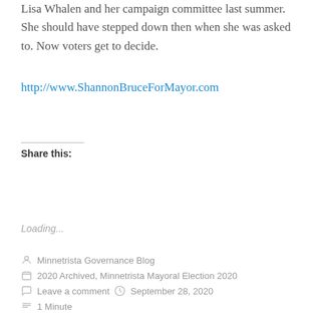Lisa Whalen and her campaign committee last summer. She should have stepped down then when she was asked to. Now voters get to decide.
http://www.ShannonBruceForMayor.com
Share this:
Tweet
Loading...
Minnetrista Governance Blog
2020 Archived, Minnetrista Mayoral Election 2020
Leave a comment  September 28, 2020
1 Minute